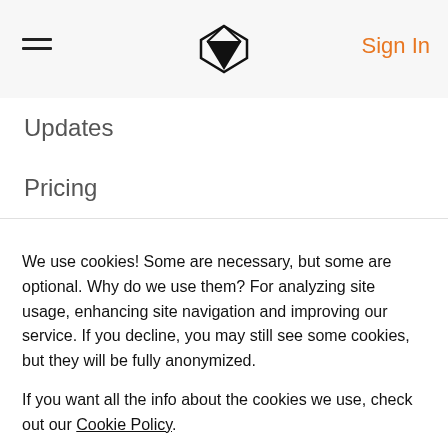Sign In
Updates
Pricing
We use cookies! Some are necessary, but some are optional. Why do we use them? For analyzing site usage, enhancing site navigation and improving our service. If you decline, you may still see some cookies, but they will be fully anonymized.

If you want all the info about the cookies we use, check out our Cookie Policy.
More options
Decline all
Accept all
Company